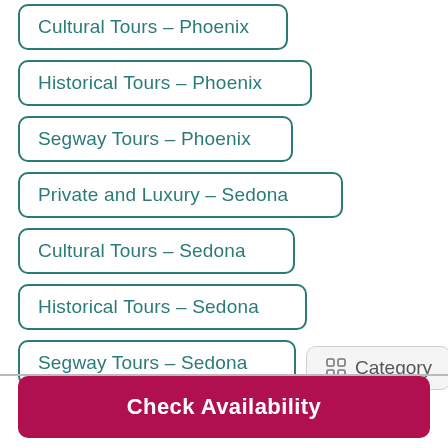Cultural Tours - Phoenix
Historical Tours - Phoenix
Segway Tours - Phoenix
Private and Luxury - Sedona
Cultural Tours - Sedona
Historical Tours - Sedona
Segway Tours - Sedona
Category
Check Availability